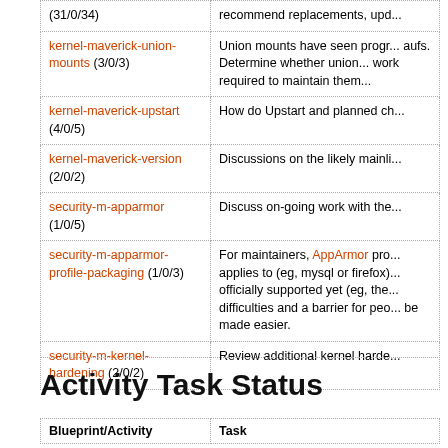| Blueprint/Activity | Description |
| --- | --- |
| (31/0/34) | recommend replacements, upd... |
| kernel-maverick-union-mounts (3/0/3) | Union mounts have seen progr... aufs. Determine whether union... work required to maintain them... |
| kernel-maverick-upstart (4/0/5) | How do Upstart and planned ch... |
| kernel-maverick-version (2/0/2) | Discussions on the likely mainli... |
| security-m-apparmor (1/0/5) | Discuss on-going work with the... |
| security-m-apparmor-profile-packaging (1/0/3) | For maintainers, AppArmor pro... applies to (eg, mysql or firefox)... officially supported yet (eg, the... difficulties and a barrier for peo... be made easier. |
| security-m-kernel-hardening (2/0/2) | Review additional kernel harde... |
Activity Task Status
| Blueprint/Activity | Task |
| --- | --- |